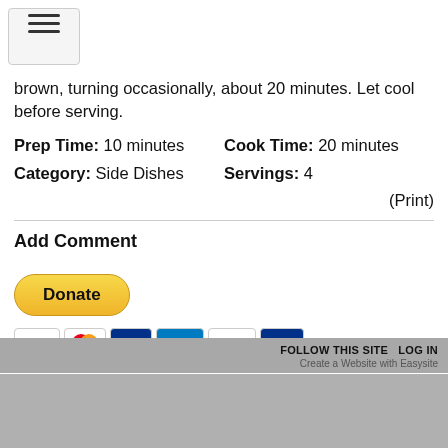[Figure (other): Hamburger menu button icon with three horizontal lines]
brown, turning occasionally, about 20 minutes. Let cool before serving.
Prep Time: 10 minutes   Cook Time: 20 minutes
Category: Side Dishes   Servings: 4
(Print)
Add Comment
[Figure (other): PayPal Donate button with payment card icons (Visa, Mastercard, PayPal, American Express, Discover, and another card)]
FOLLOW THIS SITE   LOG IN
Create a Website with Easysite